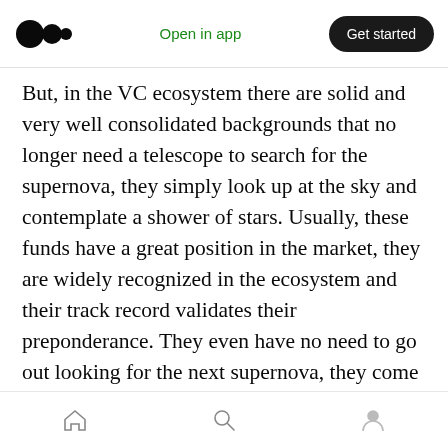Medium app header with logo, Open in app, Get started
But, in the VC ecosystem there are solid and very well consolidated backgrounds that no longer need a telescope to search for the supernova, they simply look up at the sky and contemplate a shower of stars. Usually, these funds have a great position in the market, they are widely recognized in the ecosystem and their track record validates their preponderance. They even have no need to go out looking for the next supernova, they come straight to them.
For example, Ula in Indonesia was founded by an ex Sequoia who had the opportunity to raise
Home, Search, Profile navigation icons